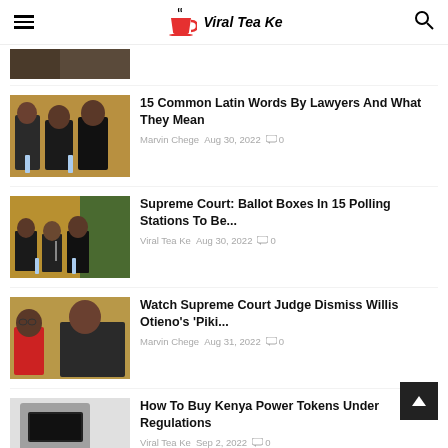Viral Tea Ke
[Figure (photo): Partial thumbnail of an article image at top]
15 Common Latin Words By Lawyers And What They Mean
Marvin Chege  Aug 30, 2022  0
[Figure (photo): Photo of people at a panel/court session]
Supreme Court: Ballot Boxes In 15 Polling Stations To Be...
Viral Tea Ke  Aug 30, 2022  0
[Figure (photo): Photo of two men in court robes]
Watch Supreme Court Judge Dismiss Willis Otieno's 'Piki...
Marvin Chege  Aug 31, 2022  0
[Figure (photo): Photo of a power meter/token machine]
How To Buy Kenya Power Tokens Under Regulations
Viral Tea Ke  Sep 2, 2022  0